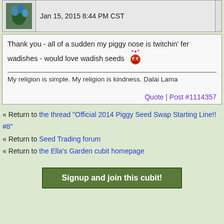Jan 15, 2015 8:44 PM CST
Thank you - all of a sudden my piggy nose is twitchin' fer wadishes - would love wadish seeds 😊
My religion is simple. My religion is kindness. Dalai Lama
Quote | Post #1114357
« Return to the thread "Official 2014 Piggy Seed Swap Starting Line!! #8"
« Return to Seed Trading forum
« Return to the Ella's Garden cubit homepage
Signup and join this cubit!